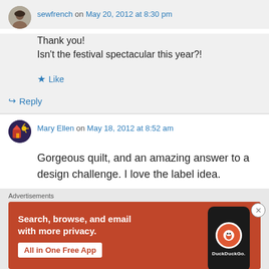sewfrench on May 20, 2012 at 8:30 pm
Thank you!
Isn't the festival spectacular this year?!
Like
Reply
Mary Ellen on May 18, 2012 at 8:52 am
Gorgeous quilt, and an amazing answer to a design challenge. I love the label idea.
Advertisements
[Figure (screenshot): DuckDuckGo advertisement banner: orange background, text 'Search, browse, and email with more privacy. All in One Free App' with a phone showing DuckDuckGo logo]